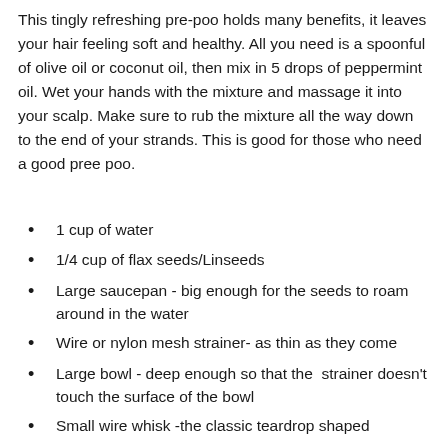This tingly refreshing pre-poo holds many benefits, it leaves your hair feeling soft and healthy. All you need is a spoonful of olive oil or coconut oil, then mix in 5 drops of peppermint oil. Wet your hands with the mixture and massage it into your scalp. Make sure to rub the mixture all the way down to the end of your strands. This is good for those who need a good pree poo.
1 cup of water
1/4 cup of flax seeds/Linseeds
Large saucepan - big enough for the seeds to roam around in the water
Wire or nylon mesh strainer- as thin as they come
Large bowl - deep enough so that the  strainer doesn't touch the surface of the bowl
Small wire whisk -the classic teardrop shaped
4-5 oz bottle - to store your finished gel